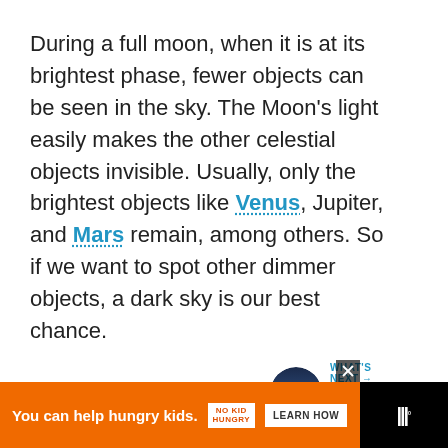During a full moon, when it is at its brightest phase, fewer objects can be seen in the sky. The Moon's light easily makes the other celestial objects invisible. Usually, only the brightest objects like Venus, Jupiter, and Mars remain, among others. So if we want to spot other dimmer objects, a dark sky is our best chance.
[Figure (other): Heart/like button (blue circle with heart icon), count '1', and share button below, displayed on the right side of the page]
[Figure (other): What's Next section with thumbnail image of waning crescent moon sky, label 'WHAT'S NEXT →' in blue, and text 'Waning Crescent...']
[Figure (other): Advertisement banner: orange background with text 'You can help hungry kids.' and 'NO KID HUNGRY' logo and 'LEARN HOW' button, on black background with weather icon]